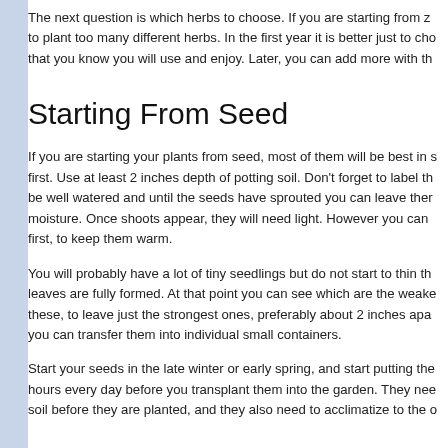The next question is which herbs to choose. If you are starting from z to plant too many different herbs. In the first year it is better just to cho that you know you will use and enjoy. Later, you can add more with th
Starting From Seed
If you are starting your plants from seed, most of them will be best in s first. Use at least 2 inches depth of potting soil. Don't forget to label th be well watered and until the seeds have sprouted you can leave ther moisture. Once shoots appear, they will need light. However you can first, to keep them warm.
You will probably have a lot of tiny seedlings but do not start to thin th leaves are fully formed. At that point you can see which are the weake these, to leave just the strongest ones, preferably about 2 inches apa you can transfer them into individual small containers.
Start your seeds in the late winter or early spring, and start putting the hours every day before you transplant them into the garden. They nee soil before they are planted, and they also need to acclimatize to the o